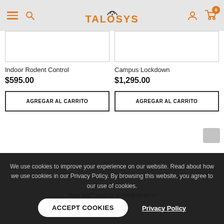TALOSYS — navigation header with menu, search, logo, account, and cart (0 items)
Indoor Rodent Control
$595.00
Campus Lockdown
$1,295.00
AGREGAR AL CARRITO
AGREGAR AL CARRITO
We use cookies to improve your experience on our website. Read about how we use cookies in our Privacy Policy. By browsing this website, you agree to our use of cookies.
ACCEPT COOKIES
Privacy Policy